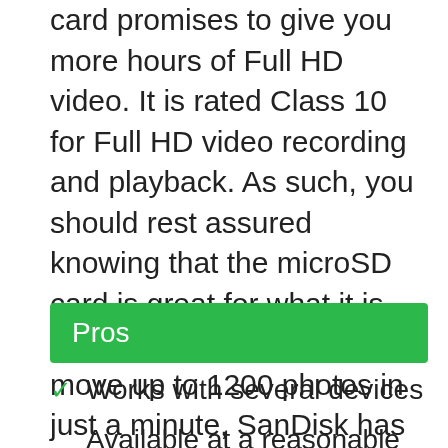card promises to give you more hours of Full HD video. It is rated Class 10 for Full HD video recording and playback. As such, you should rest assured knowing that the microSD card is great for what it is designed to do. So you can move up to 1200 photos in just a minute, SanDisk has equipped the memory card with high speeds up to 100MB/s. Additionally, the card loads apps pretty fast with A1-rated performance.
Pros
Works with several devices
Available at a reasonable price